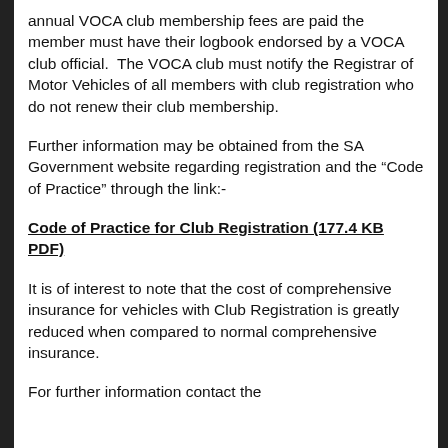annual VOCA club membership fees are paid the member must have their logbook endorsed by a VOCA club official.  The VOCA club must notify the Registrar of Motor Vehicles of all members with club registration who do not renew their club membership.
Further information may be obtained from the SA Government website regarding registration and the “Code of Practice” through the link:-
Code of Practice for Club Registration (177.4 KB PDF)
It is of interest to note that the cost of comprehensive insurance for vehicles with Club Registration is greatly reduced when compared to normal comprehensive insurance.
For further information contact the